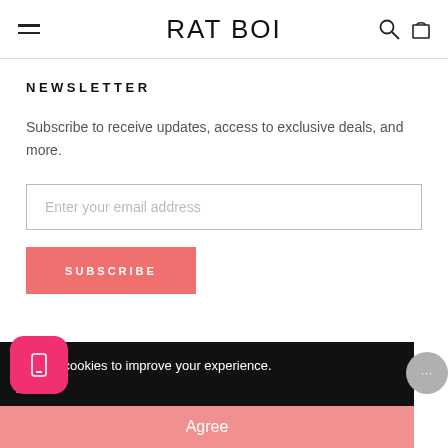RATBOI
NEWSLETTER
Subscribe to receive updates, access to exclusive deals, and more.
Enter your email address
SUBSCRIBE
We use cookies to improve your experience.
y Policy
Agree